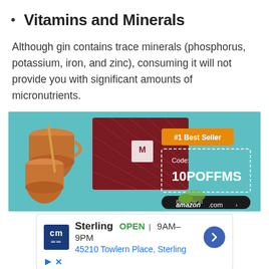Vitamins and Minerals
Although gin contains trace minerals (phosphorus, potassium, iron, and zinc), consuming it will not provide you with significant amounts of micronutrients.
[Figure (photo): Advertisement banner showing copper Moscow mule mugs and a dark red gift box on a teal background. Shows '#1 Best Seller' badge, 'Code: 10POFFMS' in a dashed box, and 'Buy now at amazon.com' button.]
[Figure (infographic): Local ad for Sterling location showing 'cm' logo, OPEN 9AM-9PM, address 45210 Towlern Place, Sterling, with a blue navigation arrow icon. Includes small play and close icons at bottom.]